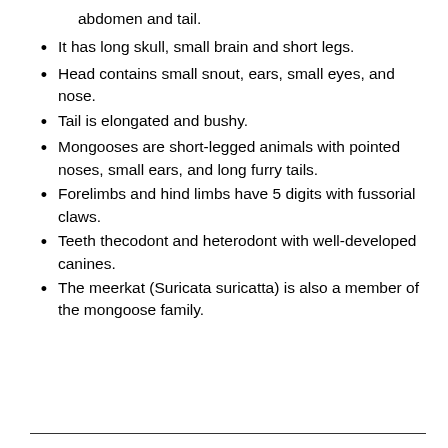abdomen and tail.
It has long skull, small brain and short legs.
Head contains small snout, ears, small eyes, and nose.
Tail is elongated and bushy.
Mongooses are short-legged animals with pointed noses, small ears, and long furry tails.
Forelimbs and hind limbs have 5 digits with fussorial claws.
Teeth thecodont and heterodont with well-developed canines.
The meerkat (Suricata suricatta) is also a member of the mongoose family.